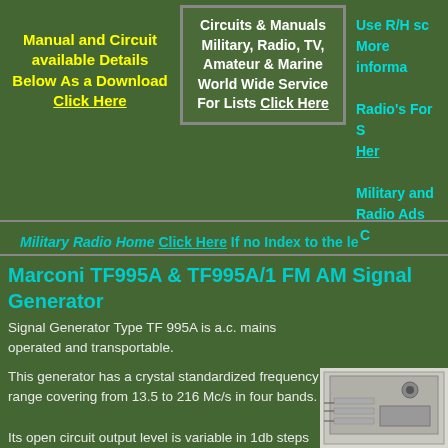Manual and Circuit available Details Below As a Download Click Here
Circuits & Manuals Military, Radio, TV, Amateur & Marine World Wide Service For Lists Click Here
Use R/H sc More informa Radio's For S Her Military and Radio Ads C
Military Radio Home Click Here If no Index to the le
Marconi TF995A & TF995A/1 FM AM Signal Generator
Signal Generator Type TF 995A is a.c. mains operated and transportable.
This generator has a crystal standardized frequency range covering from 13.5 to 216 Mc/s in four bands.
[Figure (photo): Partial photo of Marconi TF995A signal generator device]
Its open circuit output level is variable in 1db steps